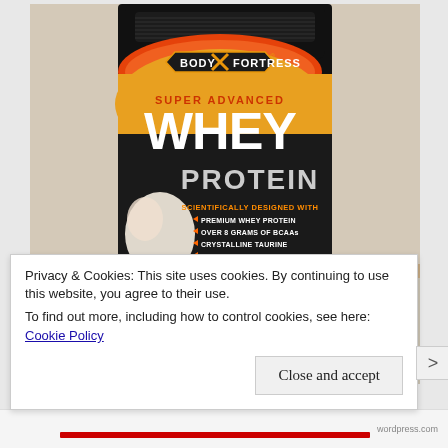[Figure (photo): A container of Body Fortress Super Advanced Whey Protein supplement. The black lidded container has a dark label with orange/gold accents and the Body Fortress logo at top. Text reads: SUPER ADVANCED WHEY PROTEIN, SCIENTIFICALLY DESIGNED WITH: PREMIUM WHEY PROTEIN, OVER 8 GRAMS OF BCAAs, CRYSTALLINE TAURINE, LEAN MASS ACTIVATORS. The container appears to be strawberry flavor based on imagery visible on the label.]
Privacy & Cookies: This site uses cookies. By continuing to use this website, you agree to their use.
To find out more, including how to control cookies, see here: Cookie Policy
Close and accept